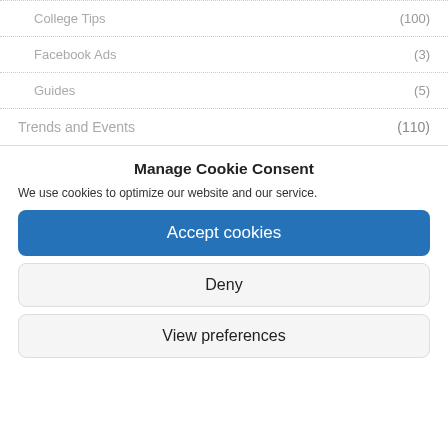College Tips (100)
Facebook Ads (3)
Guides (5)
Trends and Events (110)
Manage Cookie Consent
We use cookies to optimize our website and our service.
Accept cookies
Deny
View preferences